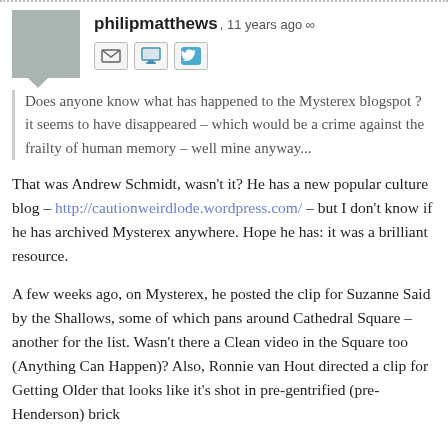...........................................................................................................................
philipmatthews, 11 years ago ∞
[Figure (illustration): User avatar placeholder (grey square with speech bubble tail) and social icons: email envelope, monitor/screen, Twitter bird]
Does anyone know what has happened to the Mysterex blogspot ? it seems to have disappeared – which would be a crime against the frailty of human memory – well mine anyway...
That was Andrew Schmidt, wasn't it? He has a new popular culture blog – http://cautionweirdlode.wordpress.com/ – but I don't know if he has archived Mysterex anywhere. Hope he has: it was a brilliant resource.
A few weeks ago, on Mysterex, he posted the clip for Suzanne Said by the Shallows, some of which pans around Cathedral Square – another for the list. Wasn't there a Clean video in the Square too (Anything Can Happen)? Also, Ronnie van Hout directed a clip for Getting Older that looks like it's shot in pre-gentrified (pre-Henderson) brick